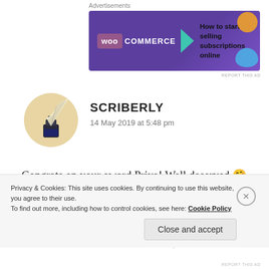Advertisements
[Figure (illustration): WooCommerce advertisement banner: purple background with WooCommerce logo, green arrow, text 'How to start selling subscriptions online', orange and blue decorative circles.]
REPORT THIS AD
[Figure (photo): Circular avatar photo of a quill pen in an ink bottle on a wooden surface.]
SCRIBERLY
14 May 2019 at 5:48 pm
Congrats on your award Priya! Well deserved 🤗💜
What you said about having many acquaintances but only letting in a few, that hit me. I'm also the same: the smaller the inner circle, the better
Privacy & Cookies: This site uses cookies. By continuing to use this website, you agree to their use.
To find out more, including how to control cookies, see here: Cookie Policy
Close and accept
REPORT THIS AD